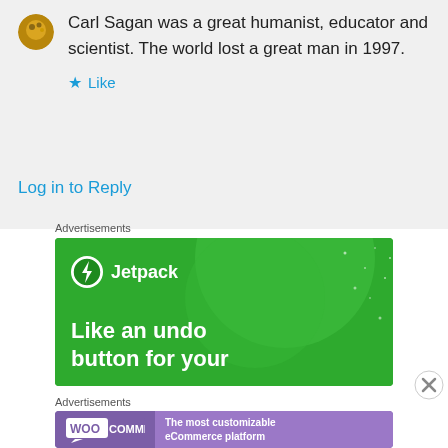Carl Sagan was a great humanist, educator and scientist. The world lost a great man in 1997.
★ Like
Log in to Reply
Advertisements
[Figure (other): Jetpack advertisement banner - green background with Jetpack logo and text 'Like an undo button for your']
Advertisements
[Figure (other): WooCommerce advertisement banner - purple background with WooCommerce logo and text 'The most customizable eCommerce platform']